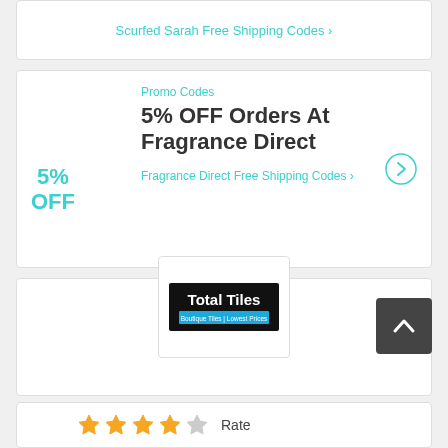Scurfed Sarah Free Shipping Codes ›
Promo Codes
5% OFF Orders At Fragrance Direct
Fragrance Direct Free Shipping Codes ›
[Figure (logo): Total Tiles logo — black background with 'Total Tiles' in white/cyan text and subtitle 'Boutique Tiles | Lowest Prices']
Rate